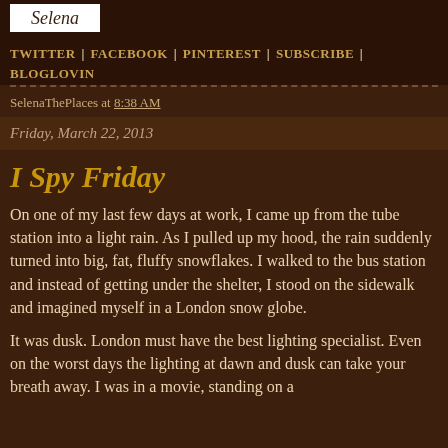[Figure (logo): Blog logo with stylized cursive text]
TWITTER | FACEBOOK | PINTEREST | SUBSCRIBE | BLOGLOVIN
SelenaThePlaces at 8:38 AM
Friday, March 22, 2013
I Spy Friday
On one of my last few days at work, I came up from the tube station into a light rain.  As I pulled up my hood, the rain suddenly turned into big, fat, fluffy snowflakes. I walked to the bus station and instead of getting under the shelter, I stood on the sidewalk and imagined myself in a London snow globe.
It was dusk.  London must have the best lighting specialist.  Even on the worst days the lighting at dawn and dusk can take your breath away.  I was in a movie, standing on a